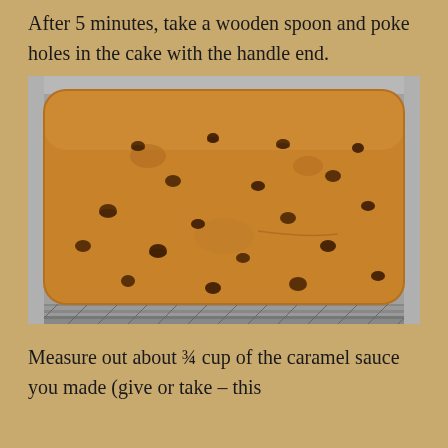After 5 minutes, take a wooden spoon and poke holes in the cake with the handle end.
[Figure (photo): A rectangular baking pan lined with foil containing a baked golden-brown cake with multiple holes poked across its surface using a wooden spoon handle.]
Measure out about ¾ cup of the caramel sauce you made (give or take – this